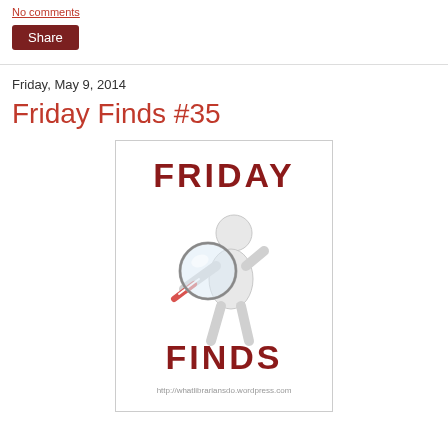No comments
Share
Friday, May 9, 2014
Friday Finds #35
[Figure (illustration): Friday Finds logo image: white 3D figure holding a large magnifying glass, with the text FRIDAY at the top and FINDS at the bottom in dark red bold letters, and a URL watermark at the bottom.]